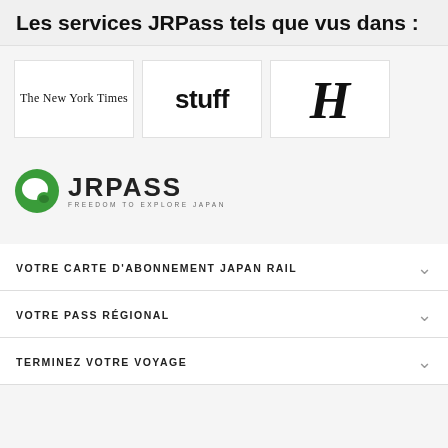Les services JRPass tels que vus dans :
[Figure (logo): Three media logo boxes in a row: The New York Times (serif italic), stuff (bold sans-serif), and a gothic H letter (Herald logo)]
[Figure (logo): JRPASS logo with green circular icon and text 'JRPASS FREEDOM TO EXPLORE JAPAN']
VOTRE CARTE D'ABONNEMENT JAPAN RAIL
VOTRE PASS RÉGIONAL
TERMINEZ VOTRE VOYAGE